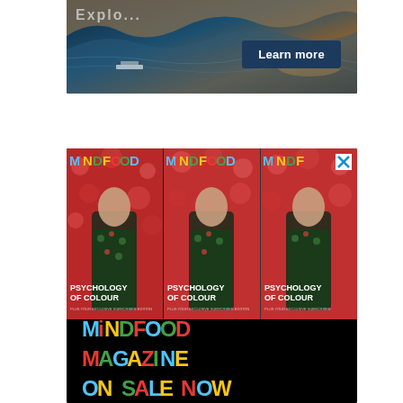[Figure (photo): Aerial view of a coastal landscape with dark blue sea, rocky terrain, and a 'Learn more' button overlay in navy blue. Part of an advertisement.]
[Figure (photo): MindFood Magazine advertisement showing three repeated magazine covers featuring a woman in a floral-patterned suit against a red floral background with 'Psychology of Colour' text, and a black banner at bottom reading 'MiNDFOOD MAGAZINE ON SALE NOW' in multicolored text. Has a close (X) button in top right.]